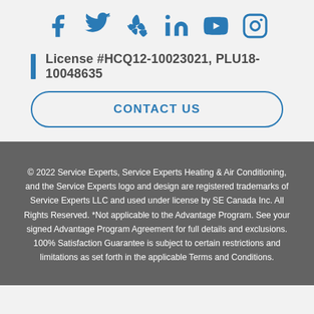[Figure (illustration): Six social media icons in blue: Facebook, Twitter, Yelp, LinkedIn, YouTube, Instagram]
License #HCQ12-10023021, PLU18-10048635
CONTACT US
© 2022 Service Experts, Service Experts Heating & Air Conditioning, and the Service Experts logo and design are registered trademarks of Service Experts LLC and used under license by SE Canada Inc. All Rights Reserved. *Not applicable to the Advantage Program. See your signed Advantage Program Agreement for full details and exclusions. 100% Satisfaction Guarantee is subject to certain restrictions and limitations as set forth in the applicable Terms and Conditions.